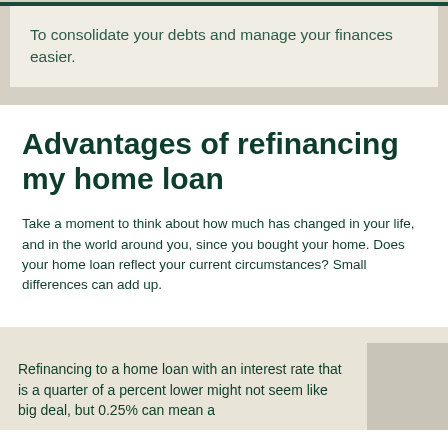To consolidate your debts and manage your finances easier.
Advantages of refinancing my home loan
Take a moment to think about how much has changed in your life, and in the world around you, since you bought your home. Does your home loan reflect your current circumstances? Small differences can add up.
Refinancing to a home loan with an interest rate that is a quarter of a percent lower might not seem like big deal, but 0.25% can mean a